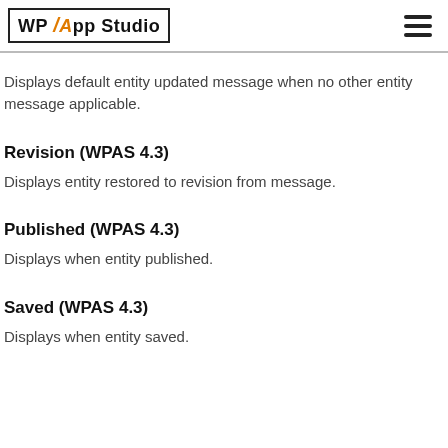WP App Studio
Displays default entity updated message when no other entity message applicable.
Revision (WPAS 4.3)
Displays entity restored to revision from message.
Published (WPAS 4.3)
Displays when entity published.
Saved (WPAS 4.3)
Displays when entity saved.